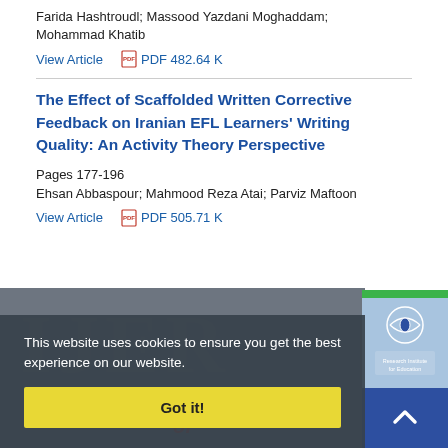Farida Hashtroudl; Massood Yazdani Moghaddam; Mohammad Khatib
View Article   PDF 482.64 K
The Effect of Scaffolded Written Corrective Feedback on Iranian EFL Learners' Writing Quality: An Activity Theory Perspective
Pages 177-196
Ehsan Abbaspour; Mahmood Reza Atai; Parviz Maftoon
View Article   PDF 505.71 K
This website uses cookies to ensure you get the best experience on our website.
Got it!